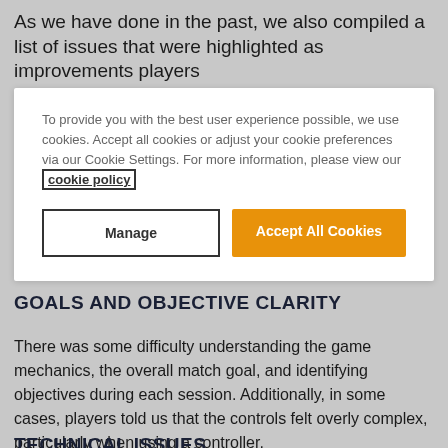As we have done in the past, we also compiled a list of issues that were highlighted as improvements players
To provide you with the best user experience possible, we use cookies. Accept all cookies or adjust your cookie preferences via our Cookie Settings. For more information, please view our cookie policy
Manage
Accept All Cookies
GOALS AND OBJECTIVE CLARITY
There was some difficulty understanding the game mechanics, the overall match goal, and identifying objectives during each session. Additionally, in some cases, players told us that the controls felt overly complex, particularly when using a controller.
TECHNICAL ISSUES